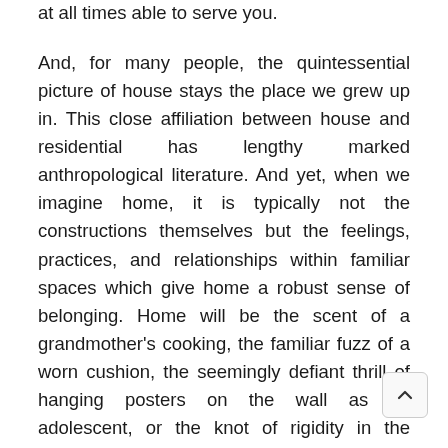at all times able to serve you.
And, for many people, the quintessential picture of house stays the place we grew up in. This close affiliation between house and residential has lengthy marked anthropological literature. And yet, when we imagine home, it is typically not the constructions themselves but the feelings, practices, and relationships within familiar spaces which give home a robust sense of belonging. Home will be the scent of a grandmother's cooking, the familiar fuzz of a worn cushion, the seemingly defiant thrill of hanging posters on the wall as an adolescent, or the knot of rigidity in the abdomen of a child listening to an argument within the adjoining room. Recent anthropological